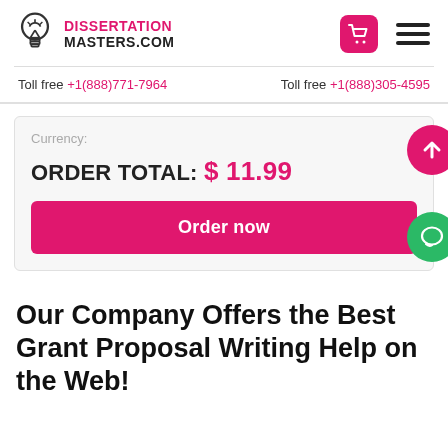[Figure (logo): Dissertation Masters.com logo with lightbulb icon]
Toll free +1(888)771-7964    Toll free +1(888)305-4595
Currency:
ORDER TOTAL: $ 11.99
Order now
Our Company Offers the Best Grant Proposal Writing Help on the Web!